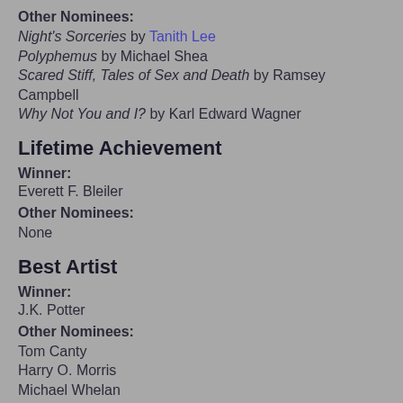Other Nominees:
Night's Sorceries by Tanith Lee
Polyphemus by Michael Shea
Scared Stiff, Tales of Sex and Death by Ramsey Campbell
Why Not You and I? by Karl Edward Wagner
Lifetime Achievement
Winner:
Everett F. Bleiler
Other Nominees:
None
Best Artist
Winner:
J.K. Potter
Other Nominees:
Tom Canty
Harry O. Morris
Michael Whelan